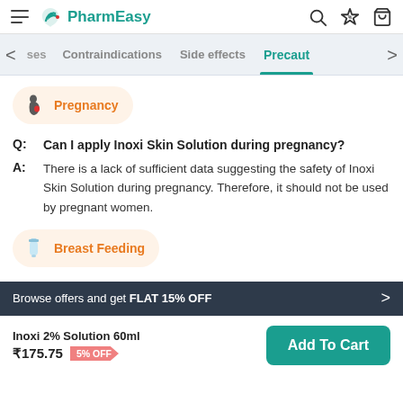PharmEasy
Precautions tab navigation: ses | Contraindications | Side effects | Precaut
[Figure (illustration): Pregnancy category icon - silhouette of pregnant woman]
Pregnancy
Q: Can I apply Inoxi Skin Solution during pregnancy?
A: There is a lack of sufficient data suggesting the safety of Inoxi Skin Solution during pregnancy. Therefore, it should not be used by pregnant women.
[Figure (illustration): Breast Feeding category icon - baby bottle]
Breast Feeding
Browse offers and get FLAT 15% OFF
Inoxi 2% Solution 60ml ₹175.75 5% OFF
Add To Cart